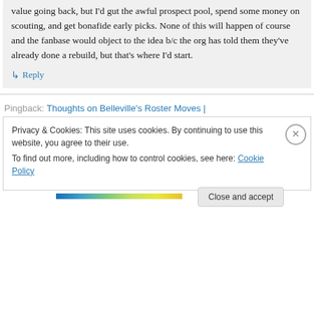value going back, but I'd gut the awful prospect pool, spend some money on scouting, and get bonafide early picks. None of this will happen of course and the fanbase would object to the idea b/c the org has told them they've already done a rebuild, but that's where I'd start.
↳ Reply
Pingback: Thoughts on Belleville's Roster Moves |
Privacy & Cookies: This site uses cookies. By continuing to use this website, you agree to their use. To find out more, including how to control cookies, see here: Cookie Policy
Close and accept